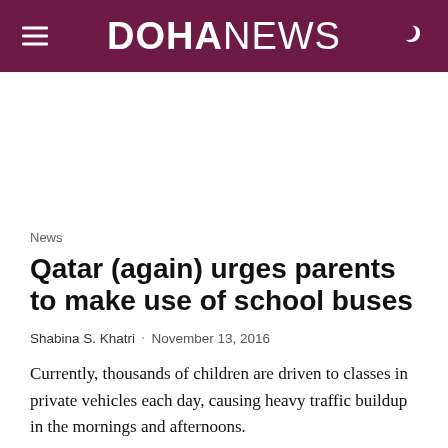DOHANEWS
News
Qatar (again) urges parents to make use of school buses
Shabina S. Khatri · November 13, 2016
Currently, thousands of children are driven to classes in private vehicles each day, causing heavy traffic buildup in the mornings and afternoons.